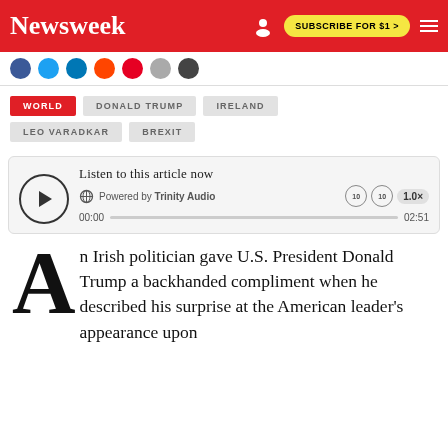Newsweek | SUBSCRIBE FOR $1 >
[Figure (screenshot): Social media share icons row: Facebook, Twitter, LinkedIn, Reddit, Pinterest, grey circle, email/bookmark]
WORLD
DONALD TRUMP
IRELAND
LEO VARADKAR
BREXIT
[Figure (other): Audio player widget: Listen to this article now, Powered by Trinity Audio, 00:00 progress bar 02:51, playback controls 1.0x]
An Irish politician gave U.S. President Donald Trump a backhanded compliment when he described his surprise at the American leader's appearance upon